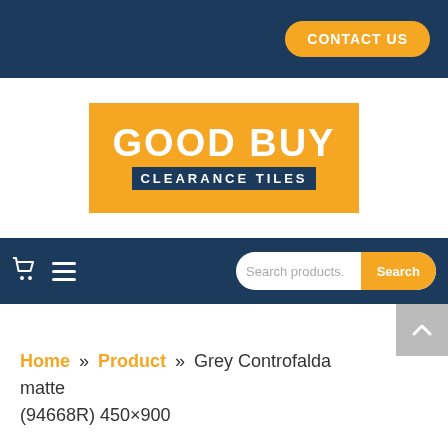CONTACT US
[Figure (logo): Good Buy Clearance Tiles logo — orange rectangle with white bold text GOOD BUY and dark blue banner with white text CLEARANCE TILES]
Navigation bar with cart icon, hamburger menu, and search box
Home » Product » Grey Controfalda matte (94668R) 450×900